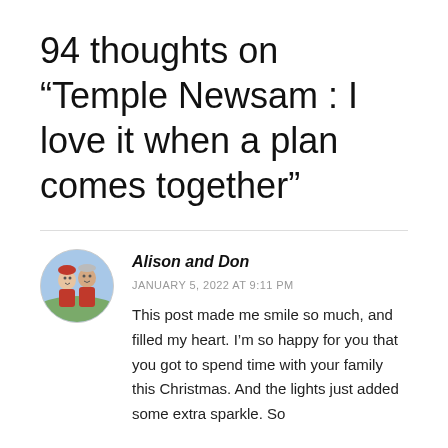94 thoughts on “Temple Newsam : I love it when a plan comes together”
[Figure (photo): Circular avatar photo of two people (Alison and Don) smiling outdoors]
Alison and Don
JANUARY 5, 2022 AT 9:11 PM
This post made me smile so much, and filled my heart. I’m so happy for you that you got to spend time with your family this Christmas. And the lights just added some extra sparkle. So